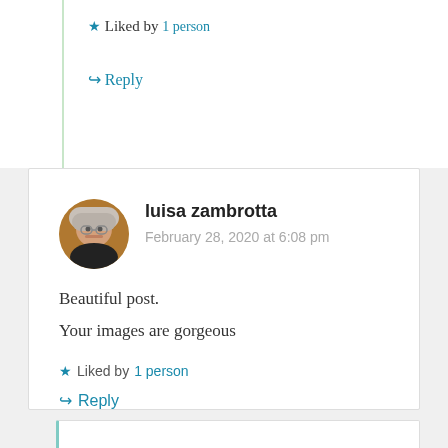★ Liked by 1 person
↪ Reply
luisa zambrotta
February 28, 2020 at 6:08 pm
Beautiful post.
Your images are gorgeous
★ Liked by 1 person
↪ Reply